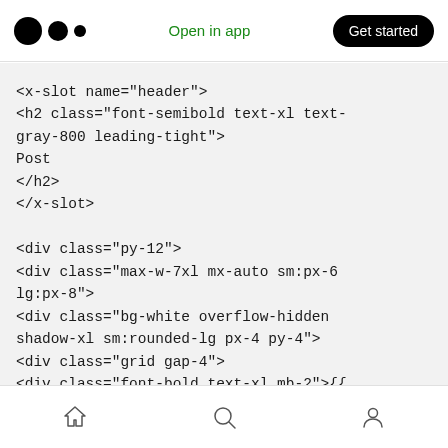Open in app | Get started
<x-slot name="header">
<h2 class="font-semibold text-xl text-gray-800 leading-tight">
Post
</h2>
</x-slot>

<div class="py-12">
<div class="max-w-7xl mx-auto sm:px-6 lg:px-8">
<div class="bg-white overflow-hidden shadow-xl sm:rounded-lg px-4 py-4">
<div class="grid gap-4">
<div class="font-bold text-xl mb-2">{{ $post->title }}</div>
<div class="flex">
by&nbsp;<span class="italic">{{ $post-
home | search | profile